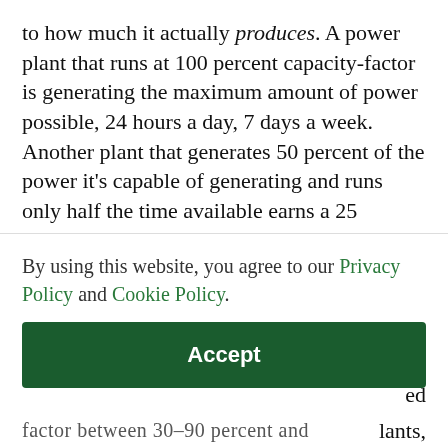to how much it actually produces. A power plant that runs at 100 percent capacity-factor is generating the maximum amount of power possible, 24 hours a day, 7 days a week. Another plant that generates 50 percent of the power it's capable of generating and runs only half the time available earns a 25 percent capacity factor (0.5 x 0.5 = 0.25).
In order to manage the grid reliably, ISOs want to fill in load requirements using dispatchable sources of
By using this website, you agree to our Privacy Policy and Cookie Policy.
Accept